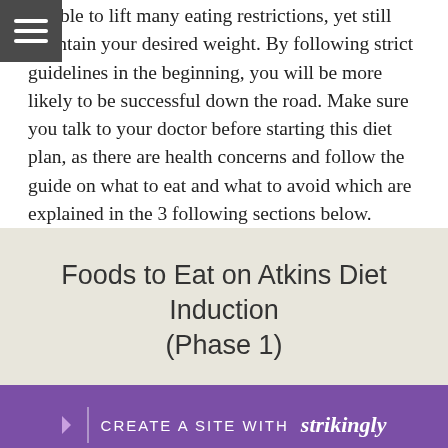be able to lift many eating restrictions, yet still maintain your desired weight. By following strict guidelines in the beginning, you will be more likely to be successful down the road. Make sure you talk to your doctor before starting this diet plan, as there are health concerns and follow the guide on what to eat and what to avoid which are explained in the 3 following sections below.
Foods to Eat on Atkins Diet Induction (Phase 1)
[Figure (screenshot): Strikingly website builder banner with purple background showing 'CREATE A SITE WITH strikingly' text, overlaid on a dark food/cooking image background]